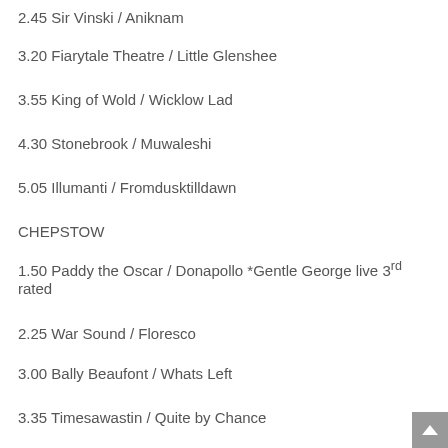2.45 Sir Vinski / Aniknam
3.20 Fiarytale Theatre / Little Glenshee
3.55 King of Wold / Wicklow Lad
4.30 Stonebrook / Muwaleshi
5.05 Illumanti / Fromdusktilldawn
CHEPSTOW
1.50 Paddy the Oscar / Donapollo *Gentle George live 3rd rated
2.25 War Sound / Floresco
3.00 Bally Beaufont / Whats Left
3.35 Timesawastin / Quite by Chance